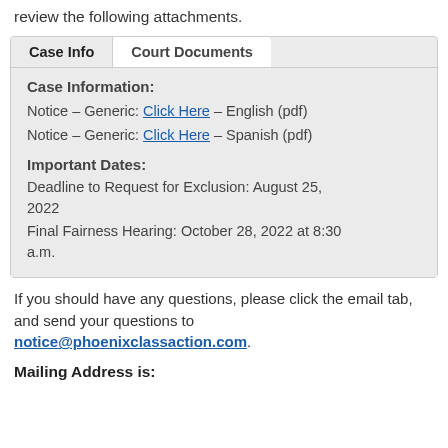review the following attachments.
Case Info | Court Documents
Case Information:
Notice – Generic: Click Here – English (pdf)
Notice – Generic: Click Here – Spanish (pdf)
Important Dates:
Deadline to Request for Exclusion: August 25, 2022
Final Fairness Hearing: October 28, 2022 at 8:30 a.m.
If you should have any questions, please click the email tab, and send your questions to notice@phoenixclassaction.com.
Mailing Address is: